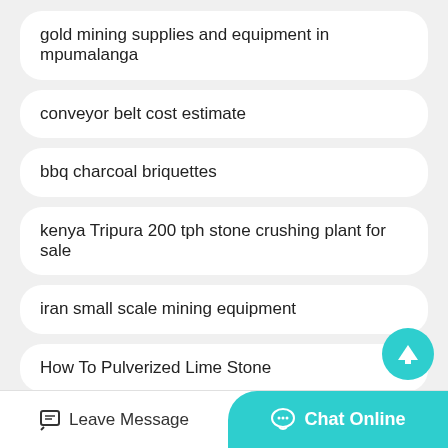gold mining supplies and equipment in mpumalanga
conveyor belt cost estimate
bbq charcoal briquettes
kenya Tripura 200 tph stone crushing plant for sale
iran small scale mining equipment
How To Pulverized Lime Stone
cement ball mill manufacturer german
Leave Message   Chat Online